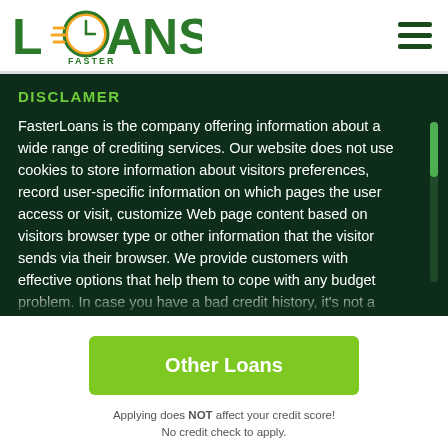LOANS FASTER [logo] [hamburger menu]
DISCLAMER
FasterLoans is the company offering information about a wide range of crediting services. Our website does not use cookies to store information about visitors preferences, record user-specific information on which pages the user access or visit, customize Web page content based on visitors browser type or other information that the visitor sends via their browser. We provide customers with effective options that help them to cope with any budget problem. In case you have a bad credit history, it's not a problem anymore
Other Loans
Applying does NOT affect your credit score!
No credit check to apply.